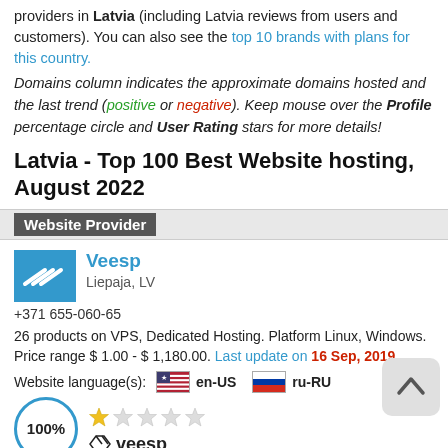providers in Latvia (including Latvia reviews from users and customers). You can also see the top 10 brands with plans for this country.
Domains column indicates the approximate domains hosted and the last trend (positive or negative). Keep mouse over the Profile percentage circle and User Rating stars for more details!
Latvia - Top 100 Best Website hosting, August 2022
| Website Provider |
| --- |
| Veesp | Liepaja, LV | +371 655-060-65 | 26 products on VPS, Dedicated Hosting. Platform Linux, Windows. Price range $ 1.00 - $ 1,180.00. Last update on 16 Sep, 2019 | Website language(s): en-US ru-RU | 100% | Domains Trend : |
Domains Trend :